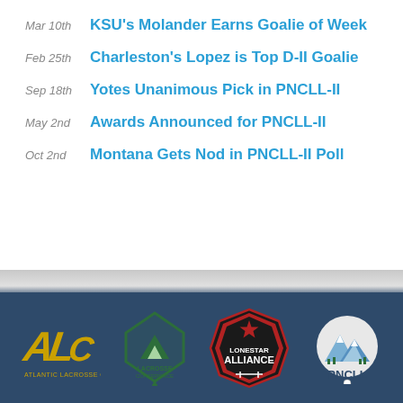Mar 10th — KSU's Molander Earns Goalie of Week
Feb 25th — Charleston's Lopez is Top D-II Goalie
Sep 18th — Yotes Unanimous Pick in PNCLL-II
May 2nd — Awards Announced for PNCLL-II
Oct 2nd — Montana Gets Nod in PNCLL-II Poll
[Figure (logo): Footer with four lacrosse conference logos: Atlantic Lacrosse Conference (ALC), Lacrosse Conference (green diamond), Lonestar Alliance, PNCLL]
ALC | Lacrosse Conference | Lonestar Alliance | PNCLL